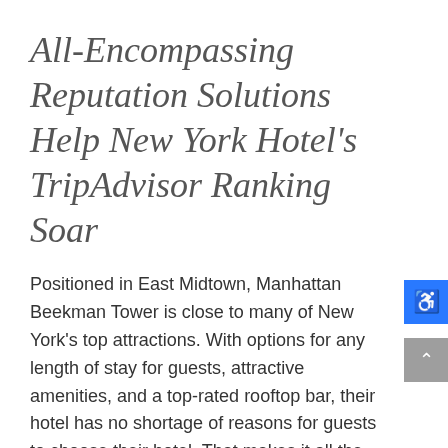All-Encompassing Reputation Solutions Help New York Hotel's TripAdvisor Ranking Soar
Positioned in East Midtown, Manhattan Beekman Tower is close to many of New York's top attractions. With options for any length of stay for guests, attractive amenities, and a top-rated rooftop bar, their hotel has no shortage of reasons for guests to choose their hotel. That makes it all the more important to keep a constant eye on their digital marketing strategies. Partnering with Travel Media Group